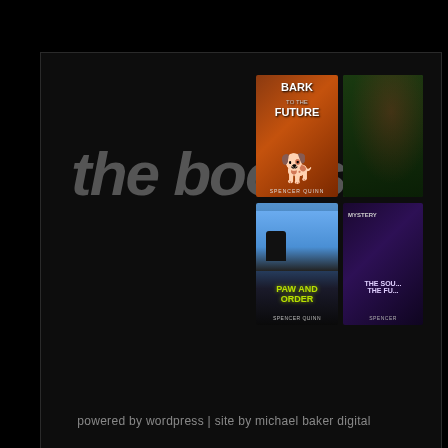the books:
[Figure (illustration): Four book covers arranged in a 2x2 grid: 'Bark to the Future' (top left, orange/brown background with dog silhouette), an unnamed book with green/dark cover (top right), 'Paw and Order' (bottom left, blue/dark with Capitol building and dog), and 'The Sound and the Fury' or similar title (bottom right, purple/dark cover). All book covers partially visible on right side of page.]
powered by wordpress | site by michael baker digital